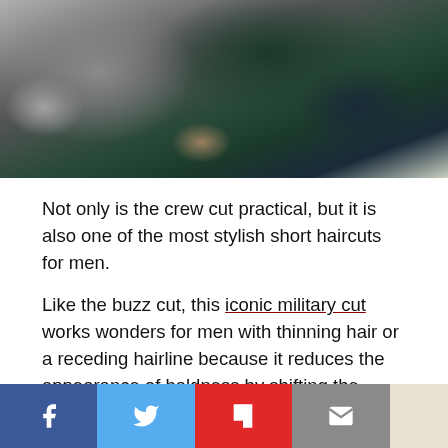[Figure (photo): Close-up photo of a man's head showing short grey hair from the back/side, wearing a patterned green jacket]
Not only is the crew cut practical, but it is also one of the most stylish short haircuts for men.
Like the buzz cut, this iconic military cut works wonders for men with thinning hair or a receding hairline because it reduces the appearance of baldness by shifting the focus to your face.
4. Short Ivy League Haircut
[Figure (infographic): Social sharing bar with Facebook, Twitter, Flipboard, Email, and one more button]